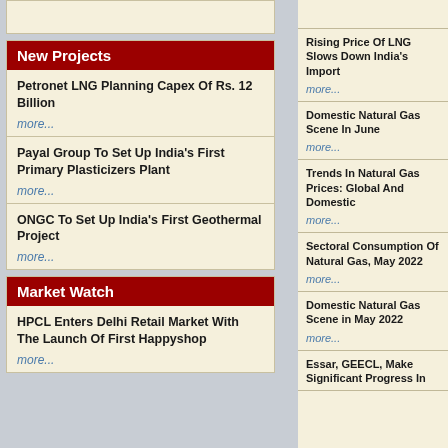New Projects
Petronet LNG Planning Capex Of Rs. 12 Billion
more...
Payal Group To Set Up India's First Primary Plasticizers Plant
more...
ONGC To Set Up India's First Geothermal Project
more...
Market Watch
HPCL Enters Delhi Retail Market With The Launch Of First Happyshop
more...
Rising Price Of LNG Slows Down India's Import
more...
Domestic Natural Gas Scene In June
more...
Trends In Natural Gas Prices: Global And Domestic
more...
Sectoral Consumption Of Natural Gas, May 2022
more...
Domestic Natural Gas Scene in May 2022
more...
Essar, GEECL, Make Significant Progress In